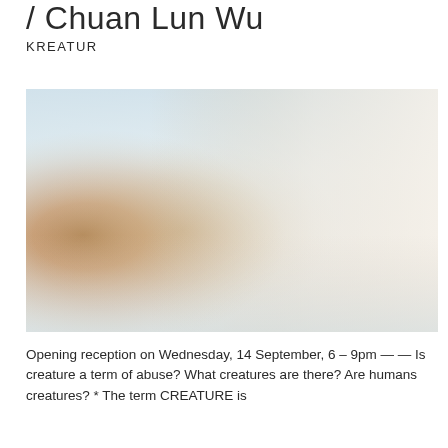/ Chuan Lun Wu
KREATUR
[Figure (photo): Blurred abstract photograph with warm brown and tan tones on the left side fading into soft light blue-white tones on the right and top, creating a gradient-like painterly effect.]
Opening reception on Wednesday, 14 September, 6 – 9pm — — Is creature a term of abuse? What creatures are there? Are humans creatures? * The term CREATURE is